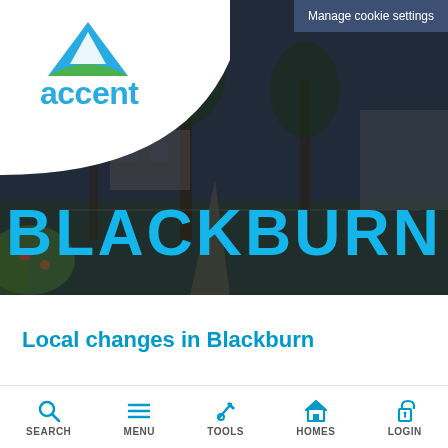[Figure (screenshot): Accent housing association website screenshot showing Blackburn hero banner with park/garden background image, white logo area in top-left with Accent logo, cookie settings button top-right, BLACKBURN text overlay, and navigation bar at bottom]
BLACKBURN
Manage cookie settings
Local changes in Blackburn
SEARCH MENU TOOLS HOMES LOGIN